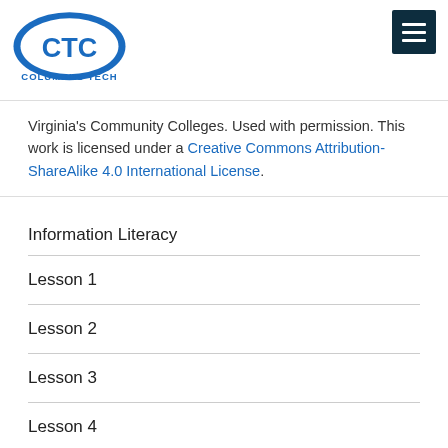[Figure (logo): Columbus Tech (CTC) logo with blue oval and CTC text, COLUMBUS TECH text below]
Virginia's Community Colleges. Used with permission. This work is licensed under a Creative Commons Attribution-ShareAlike 4.0 International License.
Information Literacy
Lesson 1
Lesson 2
Lesson 3
Lesson 4